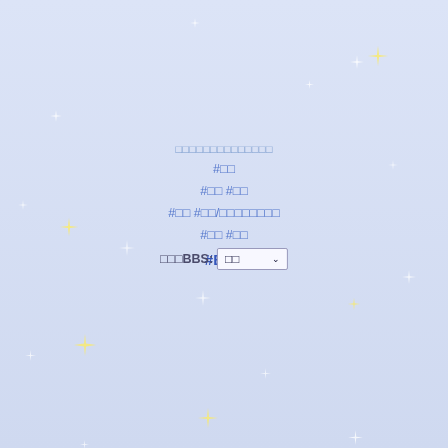[Figure (illustration): Light blue/lavender background with white and yellow sparkle/star decorations scattered across the page]
□□□□□□□□□□□□□□
#□□
#□□ #□□
#□□ #□□/□□□□□□□□
#□□ #□□
#BTS
□□□BBS: □□